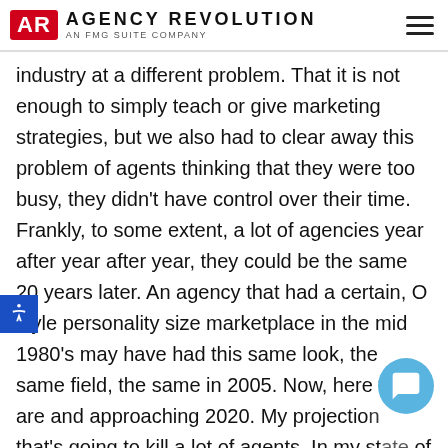AGENCY REVOLUTION — AN FMG SUITE COMPANY
industry at a different problem. That it is not enough to simply teach or give marketing strategies, but we also had to clear away this problem of agents thinking that they were too busy, they didn't have control over their time. Frankly, to some extent, a lot of agencies year after year after year, they could be the same 20 years later. An agency that had a certain, O style personality size marketplace in the mid 1980's may have had this same look, the same field, the same in 2005. Now, here we are and approaching 2020. My projection that's going to kill a lot of agents. In my state of the industry report, I identified four major